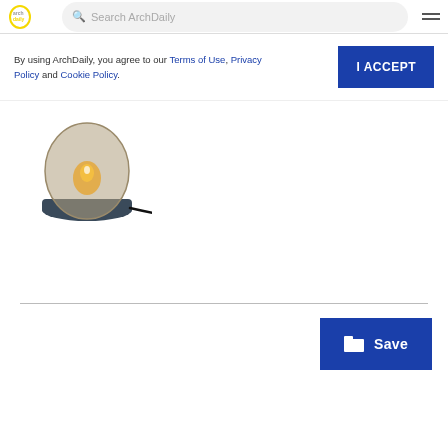ArchDaily — Search ArchDaily
By using ArchDaily, you agree to our Terms of Use, Privacy Policy and Cookie Policy.
[Figure (photo): A small table lamp with a smoky glass dome shade and dark base with a black cord.]
Save